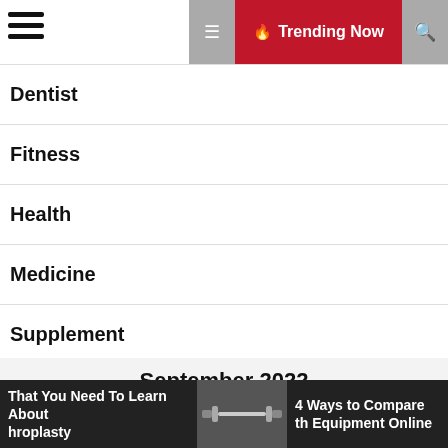Trending Now
Dentist
Fitness
Health
Medicine
Supplement
| M | T | W | T | F | S | S |
| --- | --- | --- | --- | --- | --- | --- |
|  |  |  | 1 | 2 | 3 | 4 |
That You Need To Learn About hroplasty
4 Ways to Compare th Equipment Online